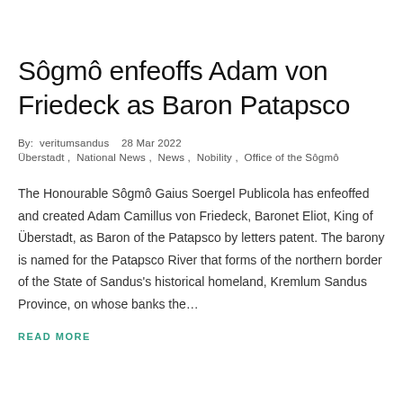Sôgmô enfeoffs Adam von Friedeck as Baron Patapsco
By:  veritumsandus    28 Mar 2022
Überstadt ,  National News ,  News ,  Nobility ,  Office of the Sôgmô
The Honourable Sôgmô Gaius Soergel Publicola has enfeoffed and created Adam Camillus von Friedeck, Baronet Eliot, King of Überstadt, as Baron of the Patapsco by letters patent. The barony is named for the Patapsco River that forms of the northern border of the State of Sandus's historical homeland, Kremlum Sandus Province, on whose banks the…
READ MORE